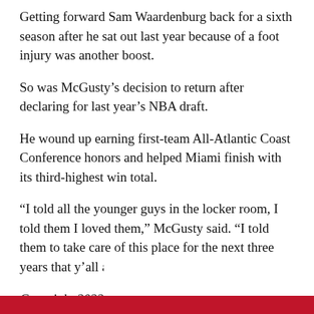Getting forward Sam Waardenburg back for a sixth season after he sat out last year because of a foot injury was another boost.
So was McGusty’s decision to return after declaring for last year’s NBA draft.
He wound up earning first-team All-Atlantic Coast Conference honors and helped Miami finish with its third-highest win total.
“I told all the younger guys in the locker room, I told them I loved them,” McGusty said. “I told them to take care of this place for the next three years that y’all are here.”
Copyright 2022 The Associated Press. All rights reserved. This material may not be published, broadcast, rewritten or redistributed.